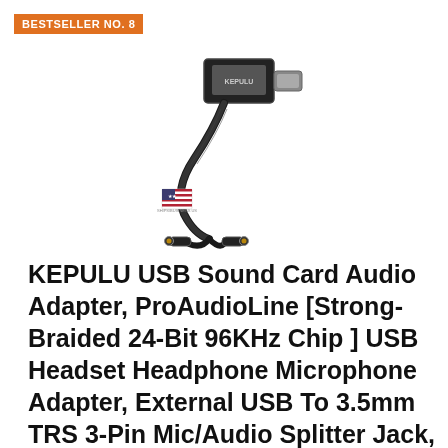BESTSELLER NO. 8
[Figure (photo): Product photo of KEPULU USB Sound Card Audio Adapter showing a USB connector with braided cable splitting into two 3.5mm audio jacks, with a small US flag badge visible]
KEPULU USB Sound Card Audio Adapter, ProAudioLine [Strong-Braided 24-Bit 96KHz Chip ] USB Headset Headphone Microphone Adapter, External USB To 3.5mm TRS 3-Pin Mic/Audio Splitter Jack, Stereo Sound